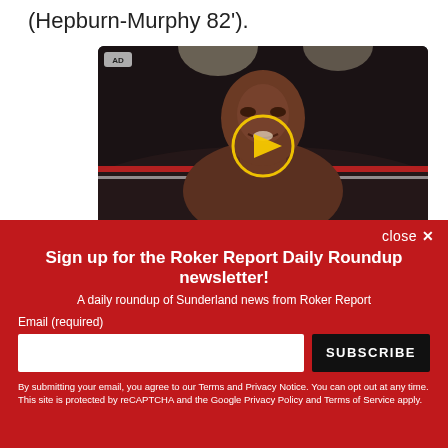(Hepburn-Murphy 82').
[Figure (photo): A boxer in a boxing ring under bright lights. An AD badge appears in the top left corner, and a yellow play button circle is overlaid in the center of the image.]
close ✕
Sign up for the Roker Report Daily Roundup newsletter!
A daily roundup of Sunderland news from Roker Report
Email (required)
SUBSCRIBE
By submitting your email, you agree to our Terms and Privacy Notice. You can opt out at any time. This site is protected by reCAPTCHA and the Google Privacy Policy and Terms of Service apply.